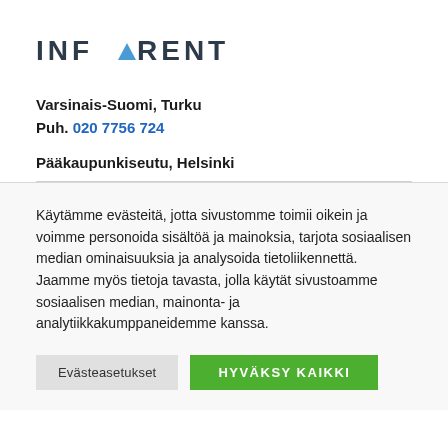[Figure (logo): INFRARENT company logo with a blue triangle replacing the letter A]
Varsinais-Suomi, Turku
Puh. 020 7756 724
Pääkaupunkiseutu, Helsinki
Käytämme evästeitä, jotta sivustomme toimii oikein ja voimme personoida sisältöä ja mainoksia, tarjota sosiaalisen median ominaisuuksia ja analysoida tietoliikennettä. Jaamme myös tietoja tavasta, jolla käytät sivustoamme sosiaalisen median, mainonta- ja analytiikkakumppaneidemme kanssa.
Evästeasetukset
HYVÄKSY KAIKKI